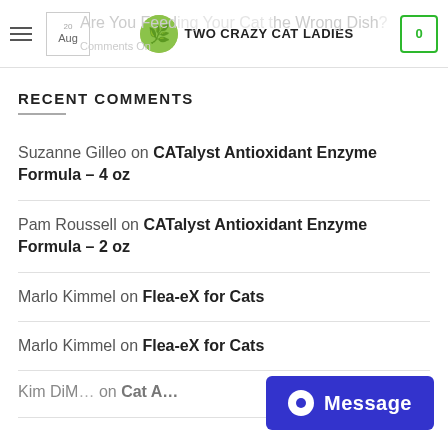Two Crazy Cat Ladies — Are You Feeding Your Cat the Wrong Dish? — Comments On
RECENT COMMENTS
Suzanne Gilleo on CATalyst Antioxidant Enzyme Formula – 4 oz
Pam Roussell on CATalyst Antioxidant Enzyme Formula – 2 oz
Marlo Kimmel on Flea-eX for Cats
Marlo Kimmel on Flea-eX for Cats
Kim DiM… on Cat A…